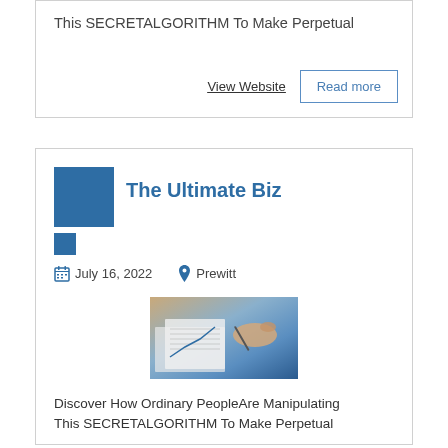This SECRETALGORITHM To Make Perpetual
View Website
Read more
[Figure (logo): Blue square logo for The Ultimate Biz]
The Ultimate Biz
July 16, 2022
Prewitt
[Figure (photo): Photo of business people working with charts and documents on a desk]
Discover How Ordinary PeopleAre Manipulating This SECRETALGORITHM To Make Perpetual